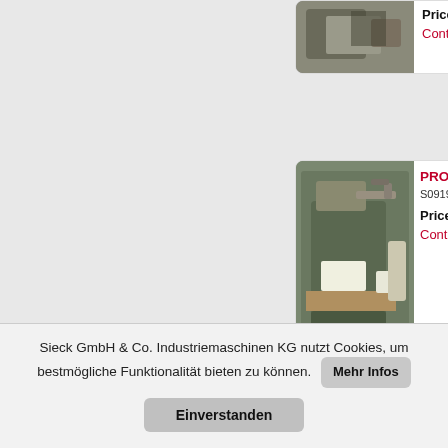[Figure (photo): Partial top card showing a machine image, price 7.5..., Contact link]
Price: 7.5
Contact -
[Figure (photo): PROTOS machine listing card with image, ref S091910, Price 700, Contact link]
PROTOS
S091910 p
Price: 700
Contact -
[Figure (photo): PAUL KIE... machine listing with image, ref S149KIEF, PP/PE Ma...]
PAUL KIE machine mm, cool S149KIEF PP/PE Ma
Sieck GmbH & Co. Industriemaschinen KG nutzt Cookies, um bestmögliche Funktionalität bieten zu können. Mehr Infos Einverstanden